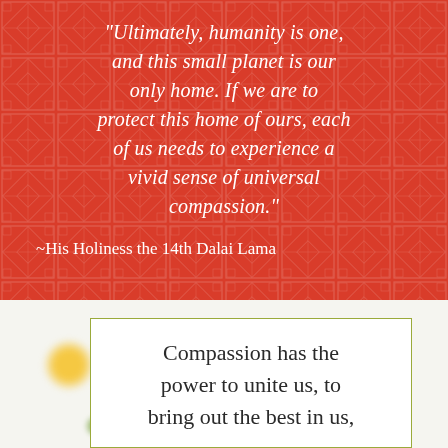[Figure (illustration): Red background with geometric repeating pattern overlay, containing an italic white quote and attribution]
"Ultimately, humanity is one, and this small planet is our only home. If we are to protect this home of ours, each of us needs to experience a vivid sense of universal compassion."
~His Holiness the 14th Dalai Lama
Compassion has the power to unite us, to bring out the best in us,